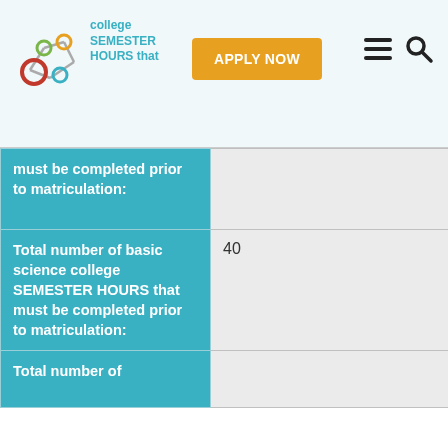college SEMESTER HOURS that — APPLY NOW
| Field | Value |
| --- | --- |
| must be completed prior to matriculation: |  |
| Total number of basic science college SEMESTER HOURS that must be completed prior to matriculation: | 40 |
| Total number of |  |